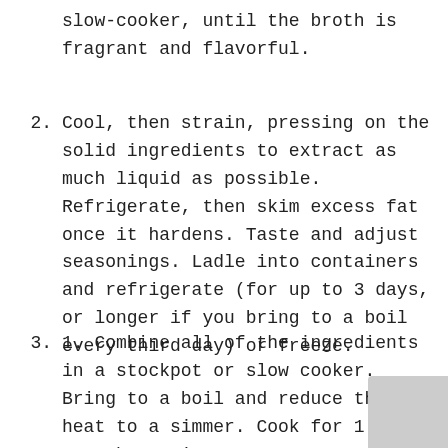slow-cooker, until the broth is fragrant and flavorful.
2. Cool, then strain, pressing on the solid ingredients to extract as much liquid as possible. Refrigerate, then skim excess fat once it hardens. Taste and adjust seasonings. Ladle into containers and refrigerate (for up to 3 days, or longer if you bring to a boil every third day) or freeze.
3. 1. Combine all of the ingredients in a stockpot or slow cooker. Bring to a boil and reduce the heat to a simmer. Cook for 1 1/2 to 2 hours in